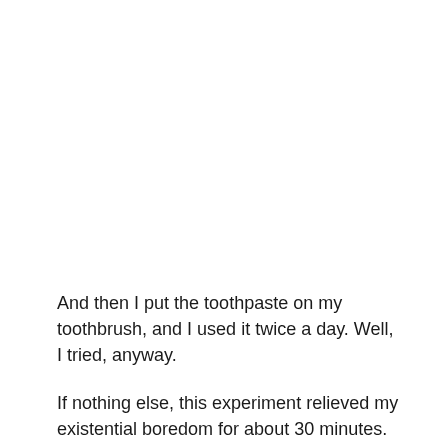And then I put the toothpaste on my toothbrush, and I used it twice a day. Well, I tried, anyway.
If nothing else, this experiment relieved my existential boredom for about 30 minutes. If you, too, would like to experiment with your teeth to avoid whatever else you